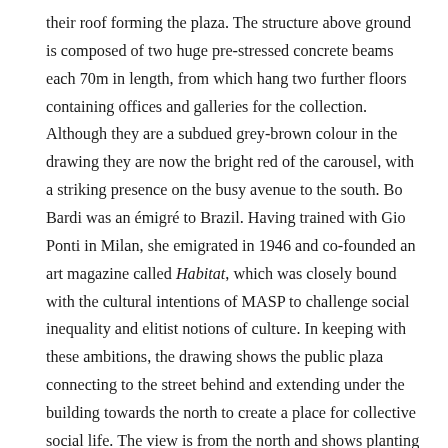their roof forming the plaza. The structure above ground is composed of two huge pre-stressed concrete beams each 70m in length, from which hang two further floors containing offices and galleries for the collection. Although they are a subdued grey-brown colour in the drawing they are now the bright red of the carousel, with a striking presence on the busy avenue to the south. Bo Bardi was an émigré to Brazil. Having trained with Gio Ponti in Milan, she emigrated in 1946 and co-founded an art magazine called Habitat, which was closely bound with the cultural intentions of MASP to challenge social inequality and elitist notions of culture. In keeping with these ambitions, the drawing shows the public plaza connecting to the street behind and extending under the building towards the north to create a place for collective social life. The view is from the north and shows planting around the edges of the terrace, which appear to connect with the park beyond. The gallery building is in the background, and the terrace is inhabited by tiny figures enjoying a children's playground filled with slides and carousels.